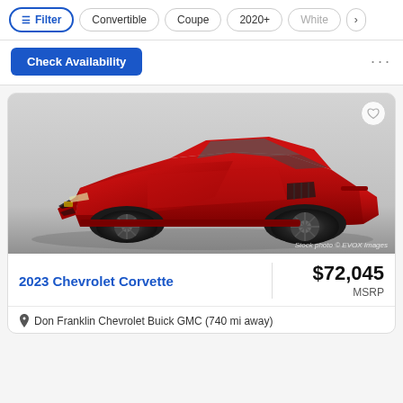Filter | Convertible | Coupe | 2020+ | White
Check Availability
[Figure (photo): Red 2023 Chevrolet Corvette mid-engine sports car, three-quarter front view on white/gray gradient background. Watermark: Stock photo © EVOX Images]
2023 Chevrolet Corvette
$72,045 MSRP
Don Franklin Chevrolet Buick GMC (740 mi away)